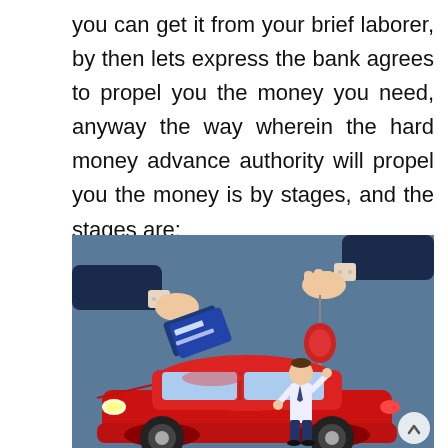you can get it from your brief laborer, by then lets express the bank agrees to propel you the money you need, anyway the way wherein the hard money advance authority will propel you the money is by stages, and the stages are:
[Figure (illustration): Illustration of a car loan or purchase transaction: two hands exchanging a credit card and car keys above a red car, with a salesperson standing beside it, on a blue background.]